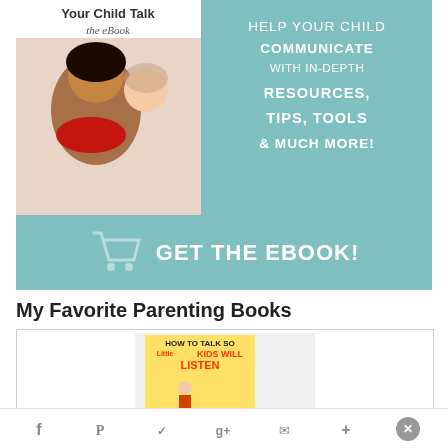[Figure (illustration): Promotional banner ad for an eBook titled 'Your Child Talk the eBook – Tips & Strategies to Help Your Child Communicate by Katie Yeh, MA, CCC-SLP' with a teal background. Left side shows the book cover with a mother and baby. Right side text reads 'HELP YOUR CHILD COMMUNICATE WITH IN-DEPTH RESOURCES, TIPS, TOOLS & MUCH MORE!' with a shopping cart icon and 'GET THE EBOOK!' button.]
My Favorite Parenting Books
[Figure (illustration): Book cover of 'How to Talk So Little Kids Will Listen' by Joanna Faber & Julie King, Ages 2-7, shown inside a bordered box.]
Social sharing bar with Facebook, Pinterest, Twitter, Google+, Email, More icons and a close button